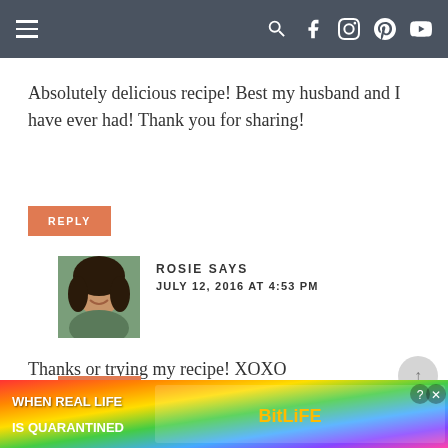Navigation bar with hamburger menu and social icons
Absolutely delicious recipe! Best my husband and I have ever had! Thank you for sharing!
REPLY
[Figure (photo): Avatar photo of Rosie - woman with curly dark hair]
ROSIE SAYS
JULY 12, 2016 AT 4:53 PM
Thanks or trying my recipe! XOXO
REPLY
[Figure (infographic): BitLife advertisement banner with rainbow background text: WHEN REAL LIFE IS QUARANTINED]